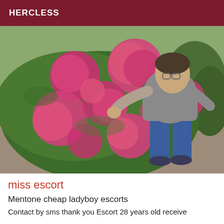HERCLESS
[Figure (photo): Person leaning over large pink hydrangea bush in a garden setting, wearing grey t-shirt and blue jeans]
miss escort
Mentone cheap ladyboy escorts
Contact by sms thank you Escort 28 years old receive